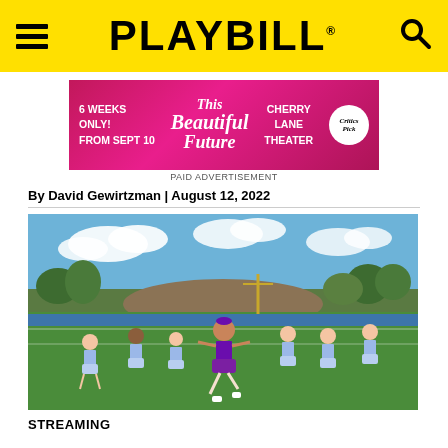PLAYBILL
[Figure (photo): Advertisement banner for 'This Beautiful Future' at Cherry Lane Theater. Text: 6 WEEKS ONLY! FROM SEPT 10 — This Beautiful Future — CHERRY LANE THEATER. New York Times Critics Pick badge.]
PAID ADVERTISEMENT
By David Gewirtzman | August 12, 2022
[Figure (photo): Cheerleaders in purple and white/light blue uniforms performing on a football field with blue track, green turf, trees and cloudy sky in background. One central performer in purple dress leads the group.]
STREAMING